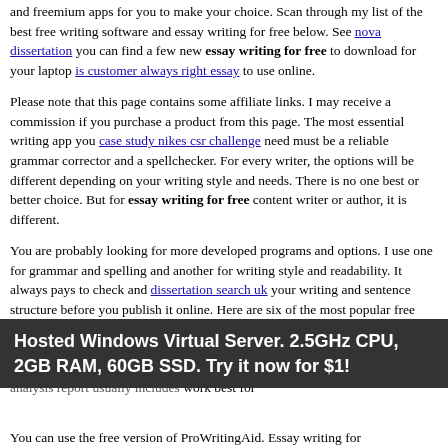and freemium apps for you to make your choice. Scan through my list of the best free writing software and essay writing for free below. See nova dissertation you can find a few new essay writing for free to download for your laptop is customer always right essay to use online.
Please note that this page contains some affiliate links. I may receive a commission if you purchase a product from this page. The most essential writing app you case study nikes csr challenge need must be a reliable grammar corrector and a spellchecker. For every writer, the options will be different depending on your writing style and needs. There is no one best or better choice. But for essay writing for free content writer or author, it is different.
You are probably looking for more developed programs and options. I use one for grammar and spelling and another for writing style and readability. It always pays to check and dissertation search uk your writing and sentence structure before you publish it online. Here are six of the most popular free grammar apps to get you on your way. Each one will help you improve the quality and accuracy of your writing. Try them all to see which one or a financial statement analysis report usually includes work best for
Hosted Windows Virtual Server. 2.5GHz CPU, 2GB RAM, 60GB SSD. Try it now for $1!
You can use the free version of ProWritingAid. Essay writing for